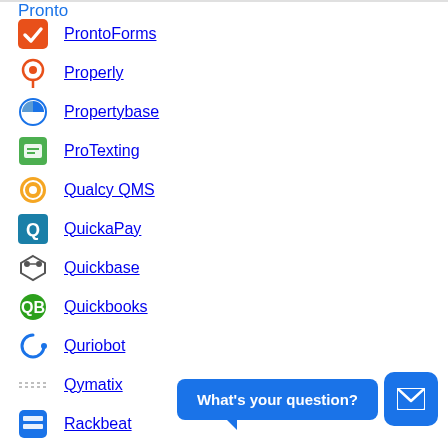ProntoForms
Properly
Propertybase
ProTexting
Qualcy QMS
QuickaPay
Quickbase
Quickbooks
Quriobot
Qymatix
Rackbeat
What's your question?